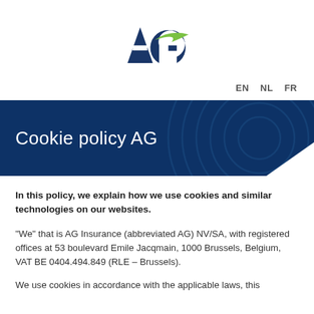[Figure (logo): AG Insurance logo — dark blue letters 'AG' with a green swoosh/checkmark]
EN   NL   FR
Cookie policy AG
In this policy, we explain how we use cookies and similar technologies on our websites.
“We” that is AG Insurance (abbreviated AG) NV/SA, with registered offices at 53 boulevard Emile Jacqmain, 1000 Brussels, Belgium, VAT BE 0404.494.849 (RLE – Brussels).
We use cookies in accordance with the applicable laws, this